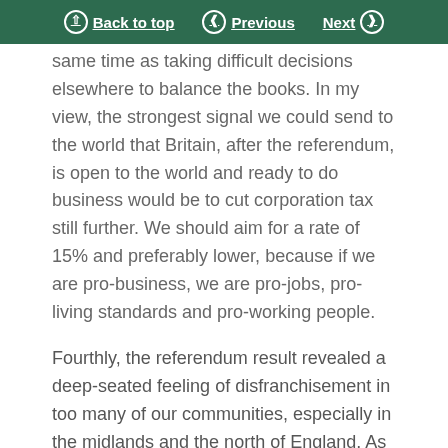Back to top | Previous | Next
same time as taking difficult decisions elsewhere to balance the books. In my view, the strongest signal we could send to the world that Britain, after the referendum, is open to the world and ready to do business would be to cut corporation tax still further. We should aim for a rate of 15% and preferably lower, because if we are pro-business, we are pro-jobs, pro-living standards and pro-working people.
Fourthly, the referendum result revealed a deep-seated feeling of disfranchisement in too many of our communities, especially in the midlands and the north of England. As I said in Manchester on Friday, the northern powerhouse is the right response and we need to redouble our efforts with elected mayors and new transport infrastructure. In my view, once